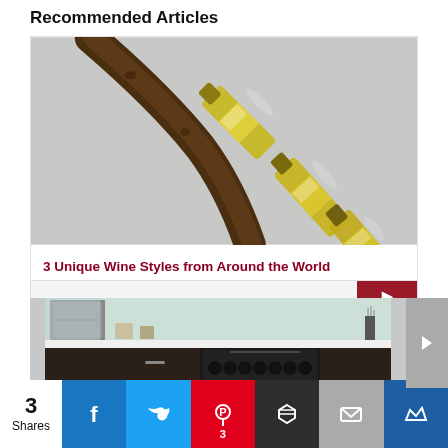Recommended Articles
[Figure (photo): Close-up photo of three wine bottles in a rustic wooden wine rack made from a branch]
3 Unique Wine Styles from Around the World
[Figure (photo): Kitchen with dark cabinetry, wine cooler, and light backsplash]
3 Shares | Facebook | Twitter | Pinterest 3 | Buffer | Email | King